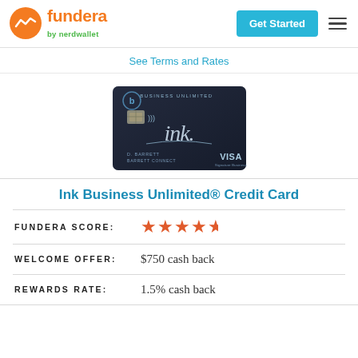fundera by nerdwallet
See Terms and Rates
[Figure (photo): Chase Ink Business Unlimited credit card — dark navy card with Chase logo, chip, ink. script signature, VISA logo, and cardholder name D. BARRETT BARRETT CONNECT]
Ink Business Unlimited® Credit Card
FUNDERA SCORE: ★★★★½
WELCOME OFFER: $750 cash back
REWARDS RATE: 1.5% cash back